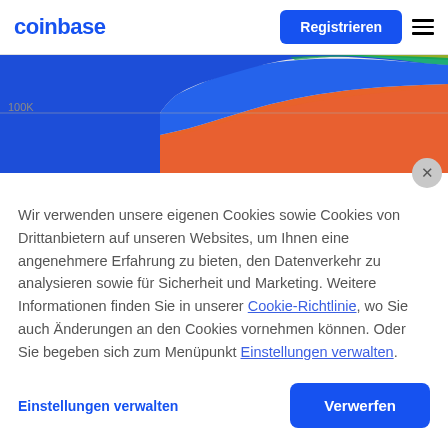coinbase
[Figure (area-chart): Stacked area chart showing cryptocurrency market data with orange, blue, green, and yellow colored areas. Y-axis shows 100K label. Chart is partially visible, cut off at top and right.]
Wir verwenden unsere eigenen Cookies sowie Cookies von Drittanbietern auf unseren Websites, um Ihnen eine angenehmere Erfahrung zu bieten, den Datenverkehr zu analysieren sowie für Sicherheit und Marketing. Weitere Informationen finden Sie in unserer Cookie-Richtlinie, wo Sie auch Änderungen an den Cookies vornehmen können. Oder Sie begeben sich zum Menüpunkt Einstellungen verwalten.
Einstellungen verwalten
Verwerfen